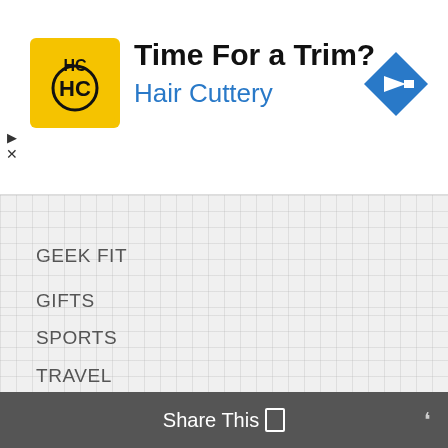[Figure (screenshot): Advertisement banner for Hair Cuttery with logo (HC on yellow square), headline 'Time For a Trim?', subtext 'Hair Cuttery' in blue, and a blue navigation arrow icon on the right.]
GEEK FIT
GIFTS
HEALTH
HOBBY
HOME
MONEY
MOVIES
MUSIC
NERD FUN
SPORTS
TRAVEL
Share This